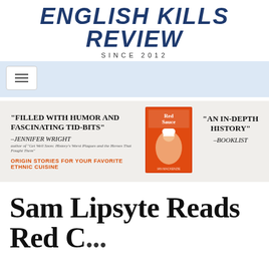ENGLISH KILLS REVIEW
SINCE 2012
[Figure (screenshot): Navigation bar with hamburger menu icon on light blue background]
[Figure (infographic): Book advertisement banner for 'Red Sauce' with quotes: 'Filled with humor and fascinating tid-bits' —Jennifer Wright and 'An in-depth history' —Booklist. Tagline: Origin stories for your favorite ethnic cuisine]
Sam Lipsyte Reads Red C...